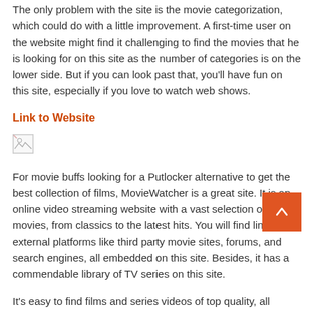The only problem with the site is the movie categorization, which could do with a little improvement. A first-time user on the website might find it challenging to find the movies that he is looking for on this site as the number of categories is on the lower side. But if you can look past that, you'll have fun on this site, especially if you love to watch web shows.
Link to Website
[Figure (other): Broken image placeholder icon (small, top-left corner of image region)]
For movie buffs looking for a Putlocker alternative to get the best collection of films, MovieWatcher is a great site. It is an online video streaming website with a vast selection of movies, from classics to the latest hits. You will find links to external platforms like third party movie sites, forums, and search engines, all embedded on this site. Besides, it has a commendable library of TV series on this site.
It's easy to find films and series videos of top quality, all